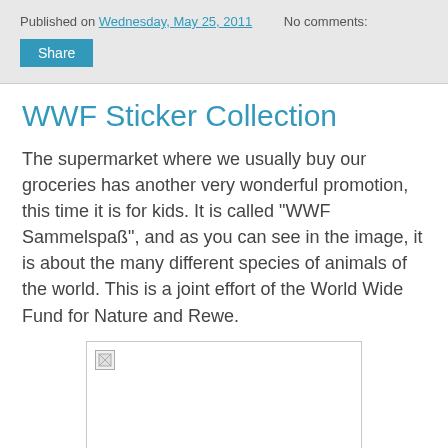Published on Wednesday, May 25, 2011   No comments:
Share
WWF Sticker Collection
The supermarket where we usually buy our groceries has another very wonderful promotion, this time it is for kids. It is called "WWF Sammelspaß", and as you can see in the image, it is about the many different species of animals of the world. This is a joint effort of the World Wide Fund for Nature and Rewe.
[Figure (photo): Image placeholder (broken/missing image) within a bordered container]